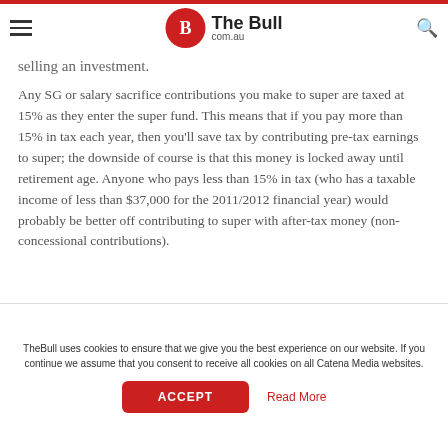The Bull com.au
selling an investment.
Any SG or salary sacrifice contributions you make to super are taxed at 15% as they enter the super fund. This means that if you pay more than 15% in tax each year, then you'll save tax by contributing pre-tax earnings to super; the downside of course is that this money is locked away until retirement age. Anyone who pays less than 15% in tax (who has a taxable income of less than $37,000 for the 2011/2012 financial year) would probably be better off contributing to super with after-tax money (non-concessional contributions).
TheBull uses cookies to ensure that we give you the best experience on our website. If you continue we assume that you consent to receive all cookies on all Catena Media websites.